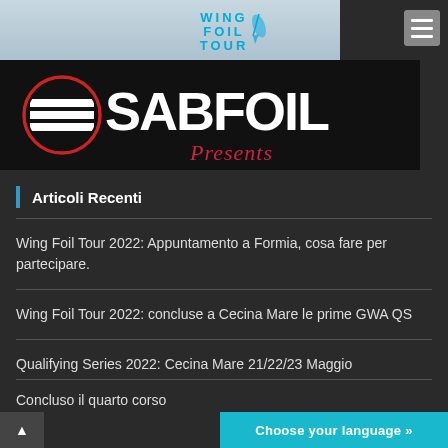[Figure (logo): Wing Foil Tour logo with stylized text in cyan/blue and a figure doing wing foiling]
[Figure (photo): SABFOIL Presents banner on dark background with large white and red stylized logo text]
Articoli Recenti
Wing Foil Tour 2022: Appuntamento a Formia, cosa fare per partecipare.
Wing Foil Tour 2022: concluse a Cecina Mare le prime GWA QS
Qualifying Series 2022: Cecina Mare 21/22/23 Maggio
Concluso il quarto corso
Choose your language »